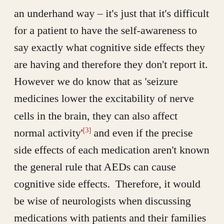an underhand way – it's just that it's difficult for a patient to have the self-awareness to say exactly what cognitive side effects they are having and therefore they don't report it. However we do know that as 'seizure medicines lower the excitability of nerve cells in the brain, they can also affect normal activity'[3] and even if the precise side effects of each medication aren't known the general rule that AEDs can cause cognitive side effects. Therefore, it would be wise of neurologists when discussing medications with patients and their families have a discussion with them about the powerful nature of these drugs so that they can weigh up the risks and benefits (which might be significant) before taking them. With…